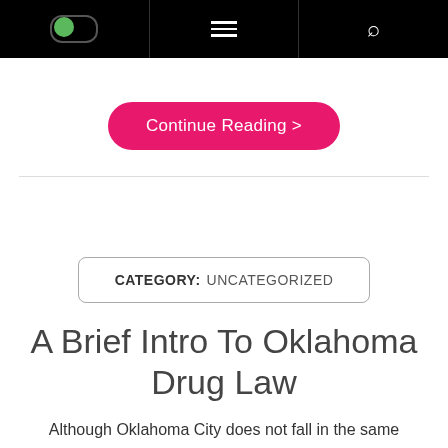[Figure (screenshot): Navigation bar with toggle switch (green), hamburger menu icon, and search icon on black background]
Continue Reading >
CATEGORY: UNCATEGORIZED
A Brief Intro To Oklahoma Drug Law
Although Oklahoma City does not fall in the same category as that of New York City when it comes to drug-related crimes, the authorities are taking the